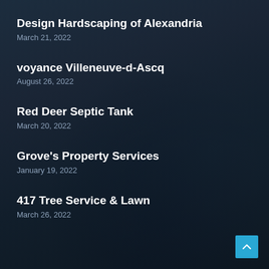Design Hardscaping of Alexandria
March 21, 2022
voyance Villeneuve-d-Ascq
August 26, 2022
Red Deer Septic Tank
March 20, 2022
Grove's Property Services
January 19, 2022
417 Tree Service & Lawn
March 26, 2022